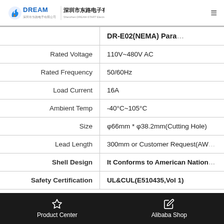DREAM 深圳市东路电子有限公司 Shenzhen DREAM-START Electronics CO., LTD.
|  | DR-E02(NEMA) Para... |
| --- | --- |
| Rated Voltage | 110V~480V AC |
| Rated Frequency | 50/60Hz |
| Load Current | 16A |
| Ambient Temp | -40°C~105°C |
| Size | φ66mm * φ38.2mm(Cutting Hole) |
| Lead Length | 300mm or Customer Request(AW... |
| Shell  Design | It Conforms to American Nation... |
| Safety Certification | UL&CUL(E510435,Vol 1) |
Product Center | Alibaba Shop